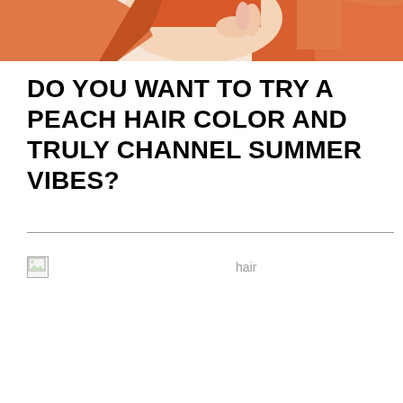[Figure (photo): Top portion of a person with orange/peach hair, partially visible at the top of the page]
DO YOU WANT TO TRY A PEACH HAIR COLOR AND TRULY CHANNEL SUMMER VIBES?
[Figure (photo): Broken image placeholder with alt text 'hair']